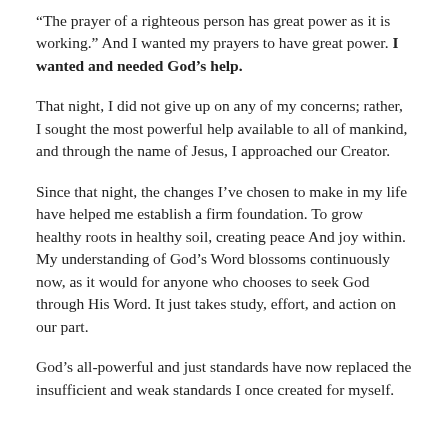“The prayer of a righteous person has great power as it is working.” And I wanted my prayers to have great power. I wanted and needed God’s help.
That night, I did not give up on any of my concerns; rather, I sought the most powerful help available to all of mankind, and through the name of Jesus, I approached our Creator.
Since that night, the changes I’ve chosen to make in my life have helped me establish a firm foundation. To grow healthy roots in healthy soil, creating peace And joy within. My understanding of God’s Word blossoms continuously now, as it would for anyone who chooses to seek God through His Word. It just takes study, effort, and action on our part.
God’s all-powerful and just standards have now replaced the insufficient and weak standards I once created for myself.